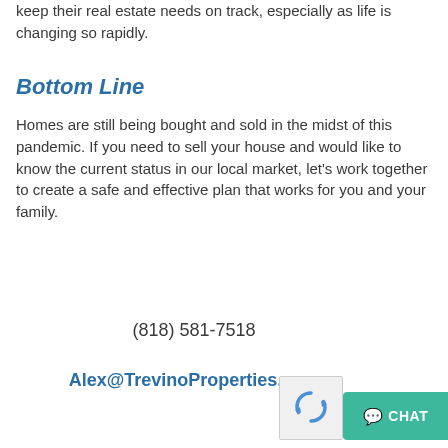keep their real estate needs on track, especially as life is changing so rapidly.
Bottom Line
Homes are still being bought and sold in the midst of this pandemic. If you need to sell your house and would like to know the current status in our local market, let's work together to create a safe and effective plan that works for you and your family.
(818) 581-7518
Alex@TrevinoProperties.com